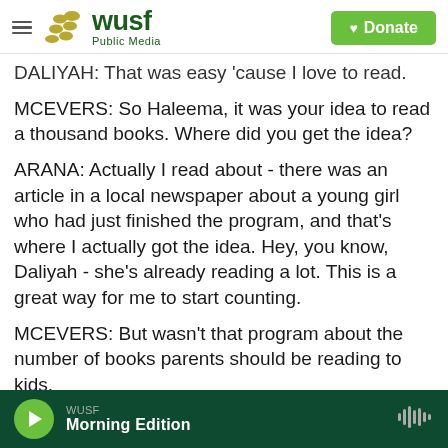WUSF Public Media | Donate
DALIYAH: That was easy 'cause I love to read.
MCEVERS: So Haleema, it was your idea to read a thousand books. Where did you get the idea?
ARANA: Actually I read about - there was an article in a local newspaper about a young girl who had just finished the program, and that's where I actually got the idea. Hey, you know, Daliyah - she's already reading a lot. This is a great way for me to start counting.
MCEVERS: But wasn't that program about the number of books parents should be reading to kids,
WUSF  Morning Edition